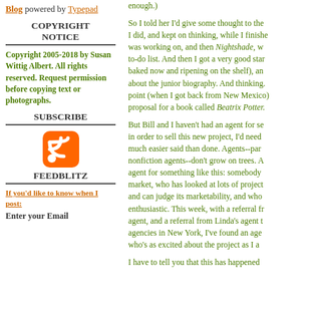Blog powered by Typepad
COPYRIGHT NOTICE
Copyright 2005-2018 by Susan Wittig Albert. All rights reserved. Request permission before copying text or photographs.
SUBSCRIBE
[Figure (illustration): RSS feed orange icon]
FEEDBLITZ
If you'd like to know when I post:
Enter your Email
enough.)
So I told her I'd give some thought to the... I did, and kept on thinking, while I finished... was working on, and then Nightshade, w... to-do list. And then I got a very good star... baked now and ripening on the shelf), an... about the junior biography. And thinking.... point (when I got back from New Mexico)... proposal for a book called Beatrix Potter.
But Bill and I haven't had an agent for se... in order to sell this new project, I'd need ... much easier said than done. Agents--par... nonfiction agents--don't grow on trees. A... agent for something like this: somebody ... market, who has looked at lots of project... and can judge its marketability, and who ... enthusiastic. This week, with a referral fr... agent, and a referral from Linda's agent t... agencies in New York, I've found an age... who's as excited about the project as I a...
I have to tell you that this has happened...